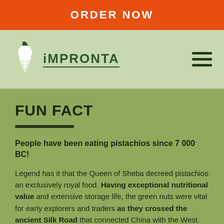ORDER NOW
[Figure (logo): Impronta logo: ice cream cone with leaf on top and 'IMPRONTA' text beside it]
FUN FACT
People have been eating pistachios since 7 000 BC!
Legend has it that the Queen of Sheba decreed pistachios an exclusively royal food. Having exceptional nutritional value and extensive storage life, the green nuts were vital for early explorers and traders as they crossed the ancient Silk Road that connected China with the West.